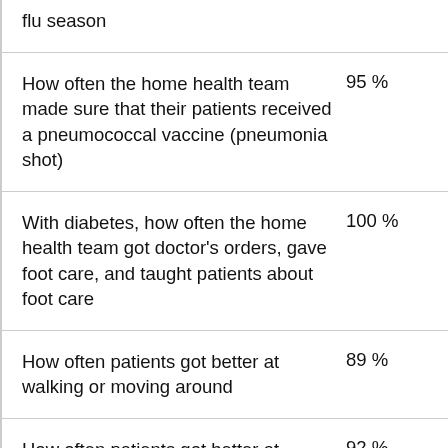flu season
| Measure | Value |
| --- | --- |
| How often the home health team made sure that their patients received a pneumococcal vaccine (pneumonia shot) | 95 % |
| With diabetes, how often the home health team got doctor's orders, gave foot care, and taught patients about foot care | 100 % |
| How often patients got better at walking or moving around | 89 % |
| How often patients got better at getting in and out of bed | 92 % |